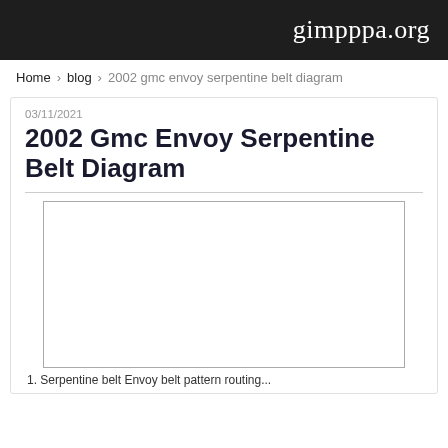gimpppa.org
Home › blog › 2002 gmc envoy serpentine belt diagram
03/11/2021
2002 Gmc Envoy Serpentine Belt Diagram
[Figure (other): Empty image placeholder box for serpentine belt diagram]
1. Serpentine belt Envoy belt pattern routing...